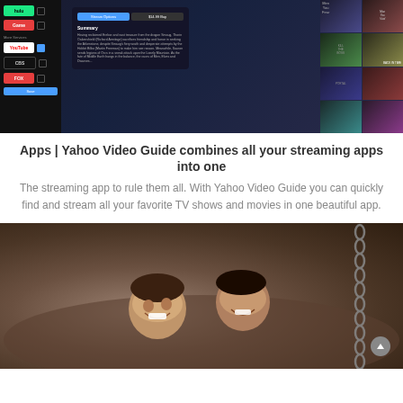[Figure (screenshot): Screenshot of Yahoo Video Guide app showing streaming service selection sidebar (Hulu, Game, YouTube, CBS, Fox), a movie popup for The Hobbit with Stream Options and $14.99 Buy tabs, and a grid of movie thumbnails including Back in Time]
Apps | Yahoo Video Guide combines all your streaming apps into one
The streaming app to rule them all. With Yahoo Video Guide you can quickly find and stream all your favorite TV shows and movies in one beautiful app.
[Figure (photo): Two children laughing, lying on what appears to be a sandy or dusty surface, with a chain visible on the right side]